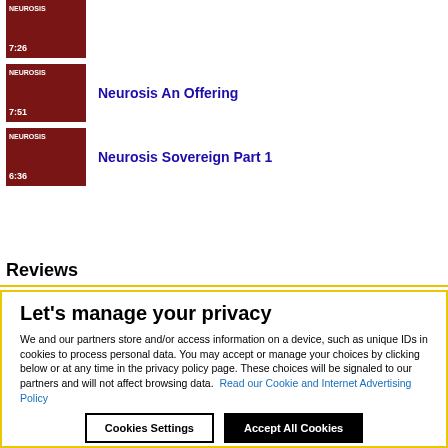7:26 [thumbnail]
Neurosis An Offering 7:51
Neurosis Sovereign Part 1 6:36
Reviews
Let's manage your privacy
We and our partners store and/or access information on a device, such as unique IDs in cookies to process personal data. You may accept or manage your choices by clicking below or at any time in the privacy policy page. These choices will be signaled to our partners and will not affect browsing data.  Read our Cookie and Internet Advertising Policy